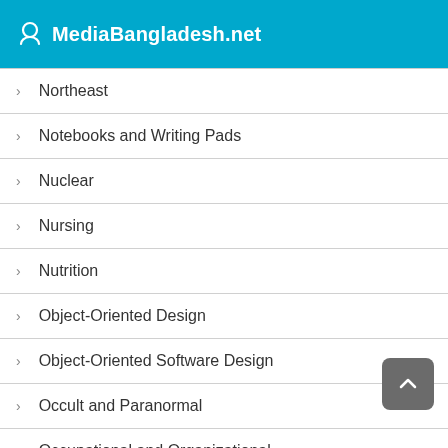MediaBangladesh.net
Northeast
Notebooks and Writing Pads
Nuclear
Nursing
Nutrition
Object-Oriented Design
Object-Oriented Software Design
Occult and Paranormal
Occupational and Organizational
Oceans and Seas